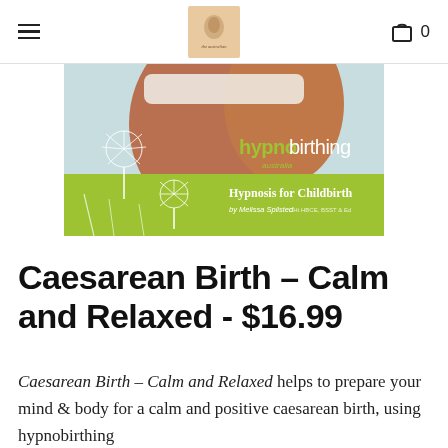Navigation bar with hamburger menu, logo, and cart (0)
[Figure (photo): Hypnobirthing Australia banner image showing a pregnant woman's abdomen with dandelion flowers, green and light blue background with text 'hypnobirthing australia' and 'Hypnosis for Childbirth by Melissa Spilsted']
Caesarean Birth – Calm and Relaxed - $16.99
Caesarean Birth – Calm and Relaxed helps to prepare your mind & body for a calm and positive caesarean birth, using hypnobirthing